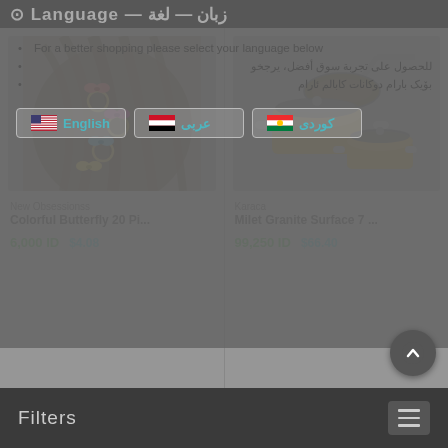Language — زبان — لغة
For a better shopping please select your language below
للحصول على تجربة تسوق أفضل، يرجى اختيار لغتك
بۆیک ئارام بارام دوکانات کابالم بارام دابمانی
[Figure (screenshot): Language selection buttons: English (US flag), عربی (Iraq flag), کوردی (Kurdistan flag)]
[Figure (photo): Product photo: woman with colorful butterfly hair clips/rings in dark hair]
New Obsessionss
Colorful Butterfly 20 Pi...
6,000 ID
$4.08
[Figure (photo): Product photo: Karaca Milet Granite Surface 7-piece cookware set with pots, lids and pan in gold/bronze finish]
Karaca
Milet Granite Surface 7 ...
99,250 ID
$66.40
Filters